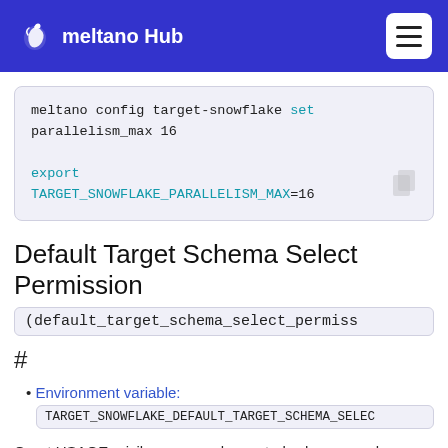meltano Hub
meltano config target-snowflake set parallelism_max 16

export
TARGET_SNOWFLAKE_PARALLELISM_MAX=16
Default Target Schema Select Permission
(default_target_schema_select_permiss
#
Environment variable:
TARGET_SNOWFLAKE_DEFAULT_TARGET_SCHEMA_SELEC
Grant USAGE privilege on newly created schemas and grant SELECT privilege on newly created tables to a